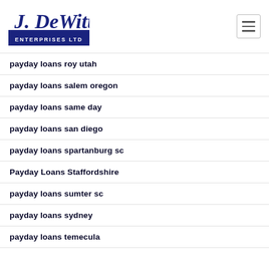J. DeWitt Enterprises Ltd
payday loans roy utah
payday loans salem oregon
payday loans same day
payday loans san diego
payday loans spartanburg sc
Payday Loans Staffordshire
payday loans sumter sc
payday loans sydney
payday loans temecula